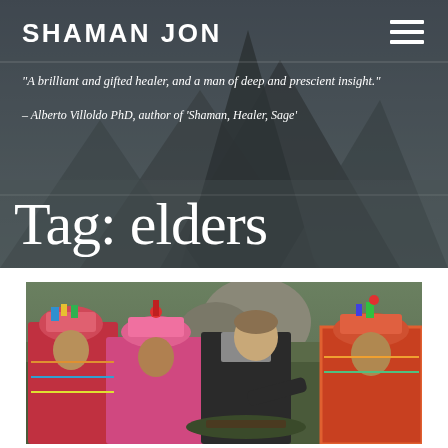SHAMAN JON
"A brilliant and gifted healer, and a man of deep and prescient insight."
– Alberto Villoldo PhD, author of 'Shaman, Healer, Sage'
Tag: elders
[Figure (photo): A group of people in traditional colorful Andean clothing with a man in modern dark clothing leaning over, appearing to be engaged in a ceremony or activity outdoors with mountains and greenery in the background.]